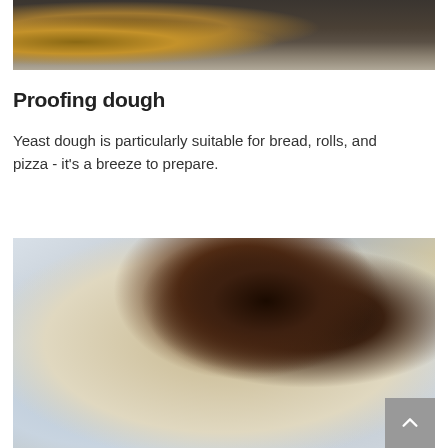[Figure (photo): Close-up photo of baked croissants or pastries on a dark baking tray, partially visible at top of page]
Proofing dough
Yeast dough is particularly suitable for bread, rolls, and pizza - it's a breeze to prepare.
[Figure (photo): Food photo showing blueberry tarts on white plates with a small bowl of granola and a spoon, fork visible, styled on a light wooden surface]